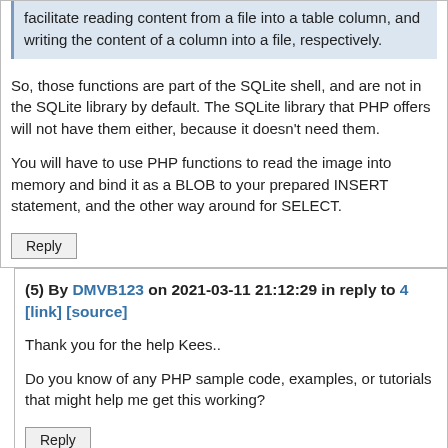facilitate reading content from a file into a table column, and writing the content of a column into a file, respectively.
So, those functions are part of the SQLite shell, and are not in the SQLite library by default. The SQLite library that PHP offers will not have them either, because it doesn't need them.
You will have to use PHP functions to read the image into memory and bind it as a BLOB to your prepared INSERT statement, and the other way around for SELECT.
Reply
(5) By DMVB123 on 2021-03-11 21:12:29 in reply to 4 [link] [source]
Thank you for the help Kees..
Do you know of any PHP sample code, examples, or tutorials that might help me get this working?
Reply